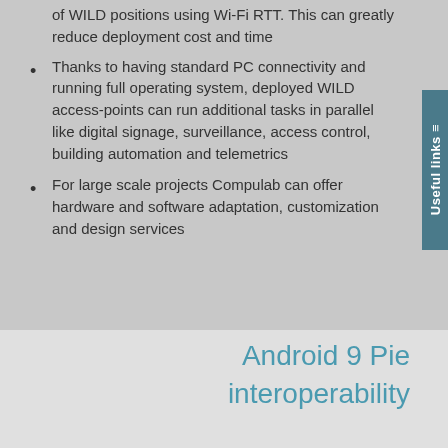of WILD positions using Wi-Fi RTT. This can greatly reduce deployment cost and time
Thanks to having standard PC connectivity and running full operating system, deployed WILD access-points can run additional tasks in parallel like digital signage, surveillance, access control, building automation and telemetrics
For large scale projects Compulab can offer hardware and software adaptation, customization and design services
Android 9 Pie interoperability